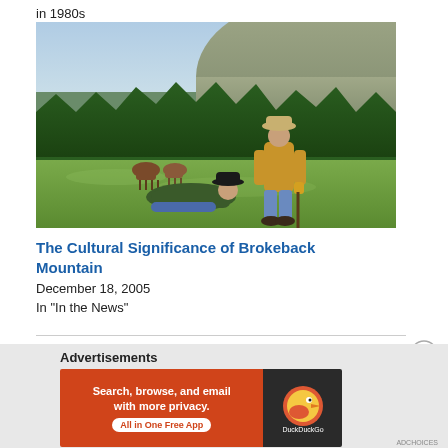in 1980s
[Figure (photo): Two cowboys in a mountain meadow with pine trees and horses in background. One man lying on grass wearing black hat and green jacket, another standing in tan jacket, jeans, and cowboy hat. Scene from Brokeback Mountain film.]
The Cultural Significance of Brokeback Mountain
December 18, 2005
In "In the News"
[Figure (advertisement): DuckDuckGo advertisement banner. Orange left panel reads: Search, browse, and email with more privacy. All in One Free App. Dark right panel shows DuckDuckGo duck logo.]